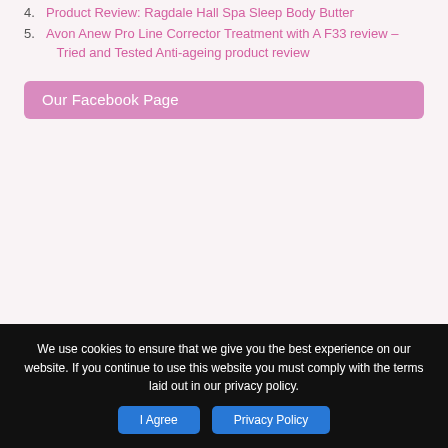4. Product Review: Ragdale Hall Spa Sleep Body Butter
5. Avon Anew Pro Line Corrector Treatment with A F33 review – Tried and Tested Anti-ageing product review
Our Facebook Page
We use cookies to ensure that we give you the best experience on our website. If you continue to use this website you must comply with the terms laid out in our privacy policy.
I Agree
Privacy Policy